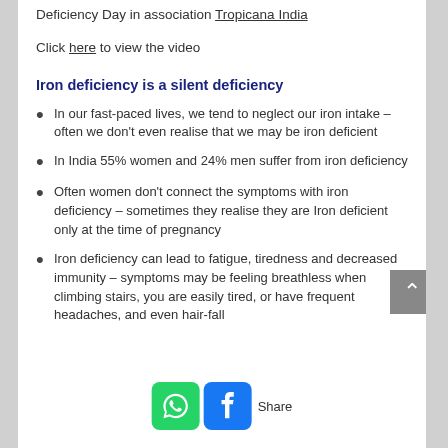Deficiency Day in association Tropicana India
Click here to view the video
Iron deficiency is a silent deficiency
In our fast-paced lives, we tend to neglect our iron intake – often we don't even realise that we may be iron deficient
In India 55% women and 24% men suffer from iron deficiency
Often women don't connect the symptoms with iron deficiency – sometimes they realise they are Iron deficient only at the time of pregnancy
Iron deficiency can lead to fatigue, tiredness and decreased immunity – symptoms may be feeling breathless when climbing stairs, you are easily tired, or have frequent headaches, and even hair-fall